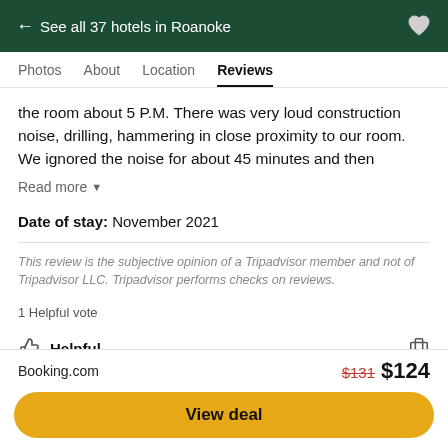← See all 37 hotels in Roanoke
Photos   About   Location   Reviews
the room about 5 P.M. There was very loud construction noise, drilling, hammering in close proximity to our room. We ignored the noise for about 45 minutes and then
Read more ▼
Date of stay: November 2021
This review is the subjective opinion of a Tripadvisor member and not of Tripadvisor LLC. Tripadvisor performs checks on reviews.
1 Helpful vote
Helpful
Booking.com   $131 $124
View deal